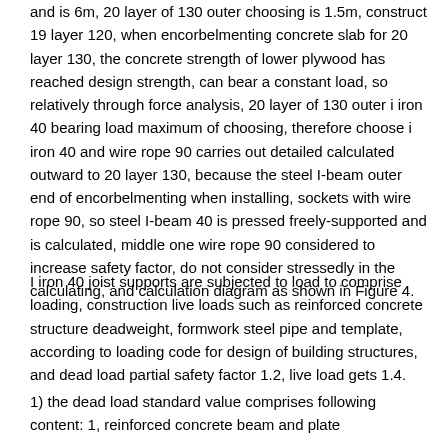and is 6m, 20 layer of 130 outer choosing is 1.5m, construct 19 layer 120, when encorbelmenting concrete slab for 20 layer 130, the concrete strength of lower plywood has reached design strength, can bear a constant load, so relatively through force analysis, 20 layer of 130 outer i iron 40 bearing load maximum of choosing, therefore choose i iron 40 and wire rope 90 carries out detailed calculated outward to 20 layer 130, because the steel I-beam outer end of encorbelmenting when installing, sockets with wire rope 90, so steel I-beam 40 is pressed freely-supported and is calculated, middle one wire rope 90 considered to increase safety factor, do not consider stressedly in the calculating, and calculation diagram as shown in Figure 4.
I iron 40 joist supports are subjected to load to comprise loading, construction live loads such as reinforced concrete structure deadweight, formwork steel pipe and template, according to loading code for design of building structures, and dead load partial safety factor 1.2, live load gets 1.4.
1) the dead load standard value comprises following content: 1, reinforced concrete beam and plate